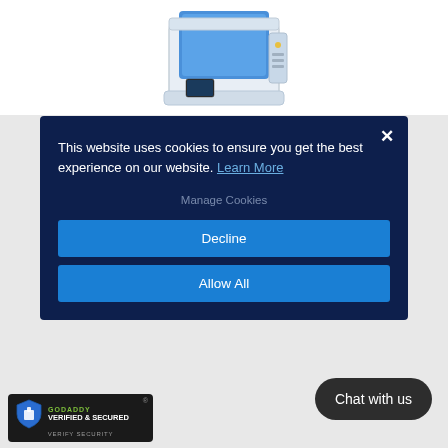[Figure (photo): Partial view of a white 3D printer or medical/lab device with blue interior, shown from above at an angle against a white background.]
This website uses cookies to ensure you get the best experience on our website. Learn More
Manage Cookies
Decline
Allow All
Chat with us
[Figure (logo): GoDaddy Verified & Secured badge with shield icon and green GoDaddy text.]